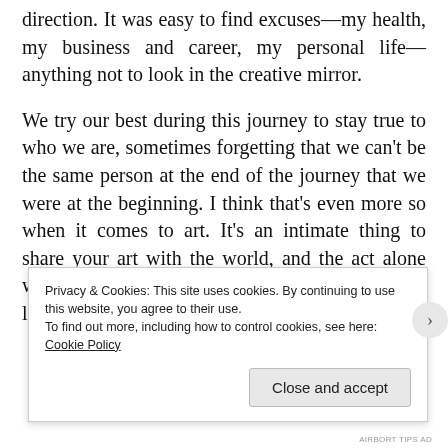direction. It was easy to find excuses—my health, my business and career, my personal life—anything not to look in the creative mirror.
We try our best during this journey to stay true to who we are, sometimes forgetting that we can't be the same person at the end of the journey that we were at the beginning. I think that's even more so when it comes to art. It's an intimate thing to share your art with the world, and the act alone will forever change you. The tricky part is learning what's actually a part of the new you and
Privacy & Cookies: This site uses cookies. By continuing to use this website, you agree to their use.
To find out more, including how to control cookies, see here: Cookie Policy
Close and accept
AIRBORT TIPS AD